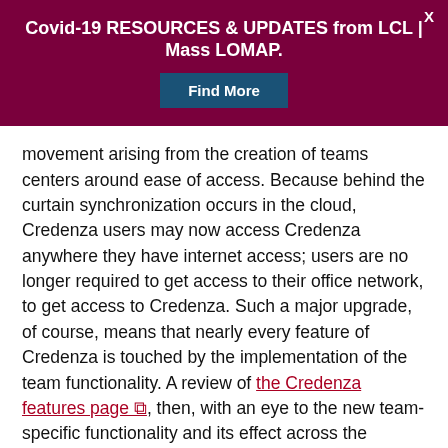Covid-19 RESOURCES & UPDATES from LCL | Mass LOMAP.
movement arising from the creation of teams centers around ease of access. Because behind the curtain synchronization occurs in the cloud, Credenza users may now access Credenza anywhere they have internet access; users are no longer required to get access to their office network, to get access to Credenza. Such a major upgrade, of course, means that nearly every feature of Credenza is touched by the implementation of the team functionality. A review of the Credenza features page, then, with an eye to the new team-specific functionality and its effect across the platform, is in order, not only for those familiar Credenza users, but also for those curious, especially those who were previously too big for the box.
But, there are other, not insignificant, changes to